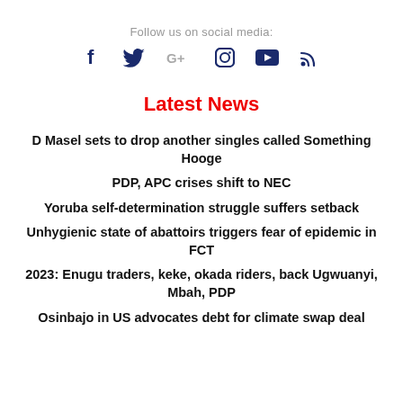Follow us on social media:
[Figure (infographic): Social media icons: Facebook, Twitter, Google+, Instagram, YouTube, RSS]
Latest News
D Masel sets to drop another singles called Something Hooge
PDP, APC crises shift to NEC
Yoruba self-determination struggle suffers setback
Unhygienic state of abattoirs triggers fear of epidemic in FCT
2023: Enugu traders, keke, okada riders, back Ugwuanyi, Mbah, PDP
Osinbajo in US advocates debt for climate swap deal